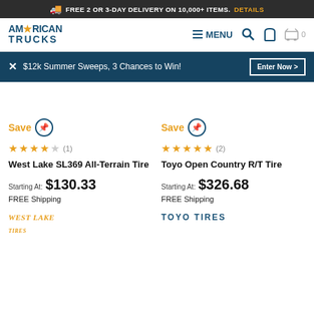FREE 2 OR 3-DAY DELIVERY ON 10,000+ ITEMS. DETAILS
[Figure (logo): American Trucks logo with navigation bar including MENU, search, phone, and cart icons]
$12k Summer Sweeps, 3 Chances to Win! Enter Now >
Save | ★★★★☆ (1) | West Lake SL369 All-Terrain Tire | Starting At: $130.33 | FREE Shipping
Save | ★★★★★ (2) | Toyo Open Country R/T Tire | Starting At: $326.68 | FREE Shipping
[Figure (logo): West Lake Tires brand logo in yellow/gold italic text]
[Figure (logo): Toyo Tires brand logo in blue text]